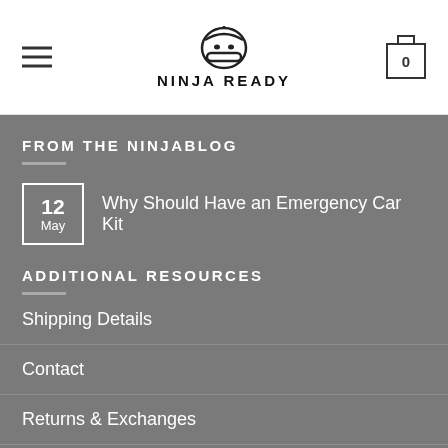NINJA READY
FROM THE NINJABLOG
12 May — Why Should Have an Emergency Car Kit
ADDITIONAL RESOURCES
Shipping Details
Contact
Returns & Exchanges
Blog